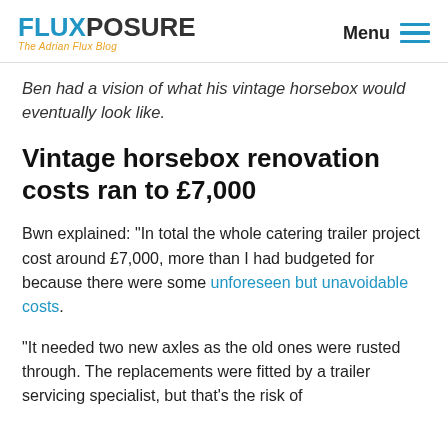FLUXPOSURE The Adrian Flux Blog | Menu
Ben had a vision of what his vintage horsebox would eventually look like.
Vintage horsebox renovation costs ran to £7,000
Bwn explained: “In total the whole catering trailer project cost around £7,000, more than I had budgeted for because there were some unforeseen but unavoidable costs.
“It needed two new axles as the old ones were rusted through. The replacements were fitted by a trailer servicing specialist, but that’s the risk of